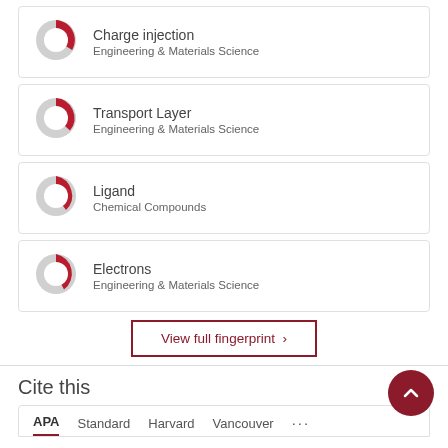Charge injection — Engineering & Materials Science
Transport Layer — Engineering & Materials Science
Ligand — Chemical Compounds
Electrons — Engineering & Materials Science
View full fingerprint ›
Cite this
APA   Standard   Harvard   Vancouver   ...